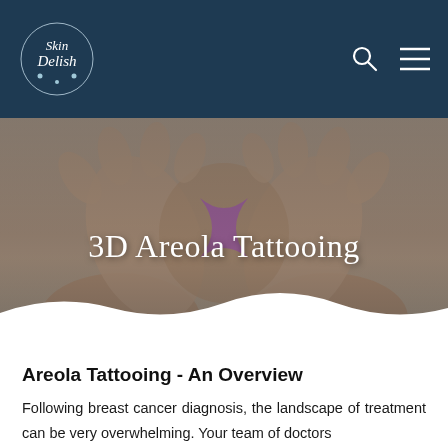Skin Delish
[Figure (photo): Hands forming a heart shape with a pink/purple breast cancer awareness ribbon visible in the center, used as hero image for 3D Areola Tattooing page]
3D Areola Tattooing
Areola Tattooing - An Overview
Following breast cancer diagnosis, the landscape of treatment can be very overwhelming. Your team of doctors